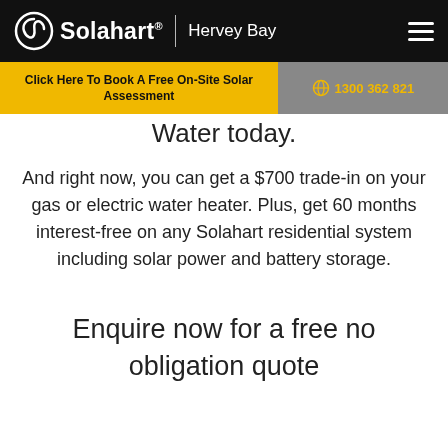Solahart | Hervey Bay
Click Here To Book A Free On-Site Solar Assessment
1300 362 821
Water today.
And right now, you can get a $700 trade-in on your gas or electric water heater. Plus, get 60 months interest-free on any Solahart residential system including solar power and battery storage.
Enquire now for a free no obligation quote